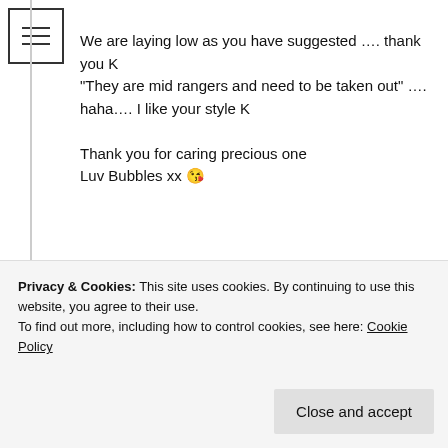We are laying low as you have suggested …. thank you K
"They are mid rangers and need to be taken out" …. haha…. I like your style K

Thank you for caring precious one
Luv Bubbles xx 😘
Loading...
Reply
K says:
Privacy & Cookies: This site uses cookies. By continuing to use this website, you agree to their use.
To find out more, including how to control cookies, see here: Cookie Policy
Close and accept